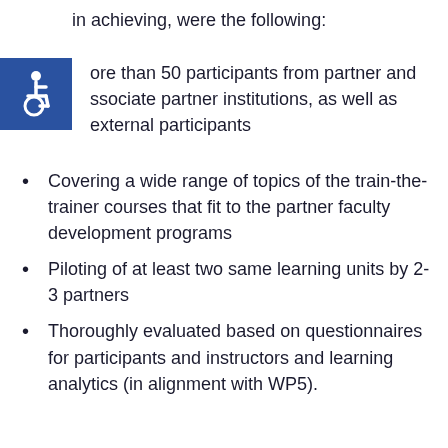in achieving, were the following:
[Figure (illustration): Blue square accessibility icon with wheelchair symbol in white]
More than 50 participants from partner and associate partner institutions, as well as external participants
Covering a wide range of topics of the train-the-trainer courses that fit to the partner faculty development programs
Piloting of at least two same learning units by 2-3 partners
Thoroughly evaluated based on questionnaires for participants and instructors and learning analytics (in alignment with WP5).